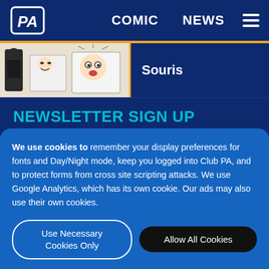PA | COMIC | NEWS
[Figure (illustration): Comic strip thumbnail showing manga-style characters in black and white]
Souris
NEWSLETTER SIGN UP
Stay up to date on all the comings and goings at Penny Arcade by joining the mailing list. Getting
We use cookies to remember your display preferences for fonts and Day/Night mode, keep you logged into Club PA, and to protect forms from cross site scripting attacks. We use Google Analytics, which has its own cookie. Our ads may also use their own cookies.
Use Necessary Cookies Only
Allow All Cookies